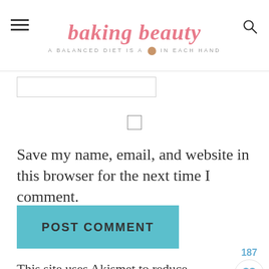baking beauty — A BALANCED DIET IS A 🍪 IN EACH HAND
[Figure (screenshot): Input text field (partially visible)]
[Figure (screenshot): Checkbox (unchecked)]
Save my name, email, and website in this browser for the next time I comment.
[Figure (screenshot): POST COMMENT button in teal/cyan color]
This site uses Akismet to reduce spam. Learn
[Figure (screenshot): Heart/like widget showing 187 likes]